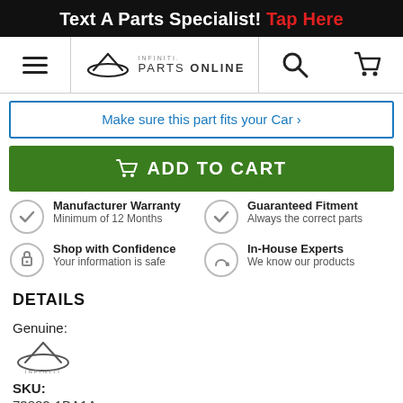Text A Parts Specialist! Tap Here
[Figure (logo): Infiniti Parts Online navigation bar with hamburger menu, Infiniti logo, Parts Online text, search icon, and cart icon]
Make sure this part fits your Car ›
ADD TO CART
Manufacturer Warranty
Minimum of 12 Months
Guaranteed Fitment
Always the correct parts
Shop with Confidence
Your information is safe
In-House Experts
We know our products
DETAILS
Genuine:
[Figure (logo): Infiniti brand logo with text INFINITI below]
SKU:
73882-1BA1A
Positions: